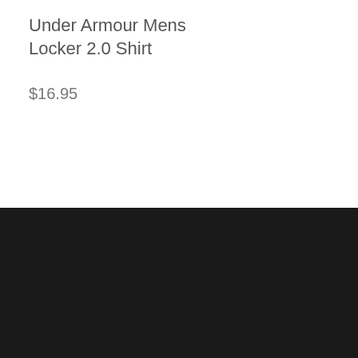Under Armour Mens Locker 2.0 Shirt
$16.95
[Figure (logo): Softball Fans logo with green shield/arrow icon and white italic bold text reading SOFTBALL FANS on dark background]
Social icons: Facebook, Twitter, Instagram, Trophy/Rewards